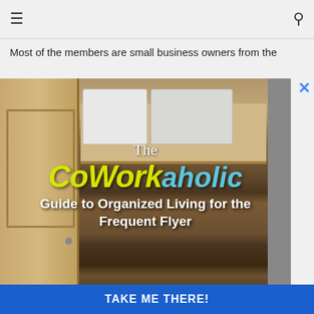☰  [search icon]
Most of the members are small business owners from the
[Figure (photo): Open wooden closet/armoire with shelves containing white storage bins and various items, overlaid with branded text. The overlay reads 'The CoWorkaholic Guide to Organized Living for the Frequent Flyer']
TAKE ME THERE!